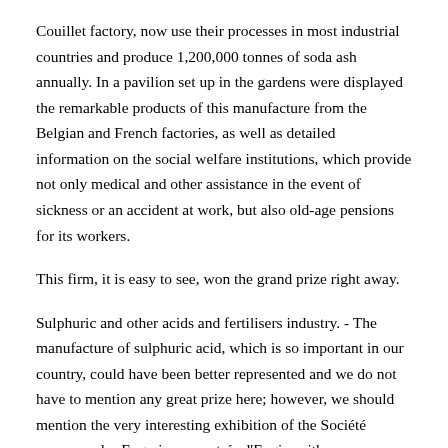Couillet factory, now use their processes in most industrial countries and produce 1,200,000 tonnes of soda ash annually. In a pavilion set up in the gardens were displayed the remarkable products of this manufacture from the Belgian and French factories, as well as detailed information on the social welfare institutions, which provide not only medical and other assistance in the event of sickness or an accident at work, but also old-age pensions for its workers.
This firm, it is easy to see, won the grand prize right away.
Sulphuric and other acids and fertilisers industry. - The manufacture of sulphuric acid, which is so important in our country, could have been better represented and we do not have to mention any great prize here; however, we should mention the very interesting exhibition of the Société anonyme des Engrais concentrés d'Engis, with